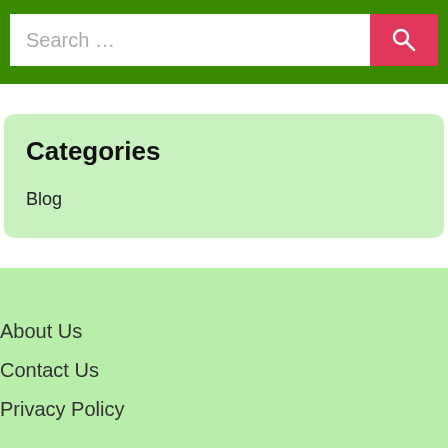[Figure (screenshot): Search bar with green background, white input field showing 'Search …' placeholder text, and a pink/red search button with magnifying glass icon]
Categories
Blog
About Us
Contact Us
Privacy Policy